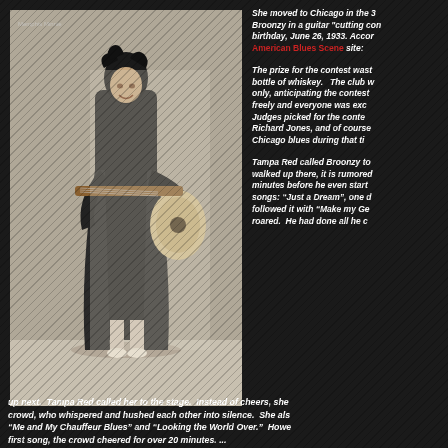[Figure (photo): Black and white photo of a woman in a flowing dark outfit playing an archtop guitar, smiling, standing pose]
She moved to Chicago in the 3... Broonzy in a guitar "cutting con... birthday, June 26, 1933. Accord... American Blues Scene site:
The prize for the contest wast... bottle of whiskey.   The club w... only, anticipating the contest... freely and everyone was exc... Judges picked for the conte... Richard Jones, and of course... Chicago blues during that ti...
Tampa Red called Broonzy to... walked up there, it is rumored... minutes before he even start... songs: "Just a Dream", one d... followed it with "Make my Ge... roared.  He had done all he c...
up next.  Tampa Red called her to the stage.  Instead of cheers, she... crowd, who whispered and hushed each other into silence.  She als... "Me and My Chauffeur Blues" and "Looking the World Over."  Howe... first song, the crowd cheered for over 20 minutes. ...